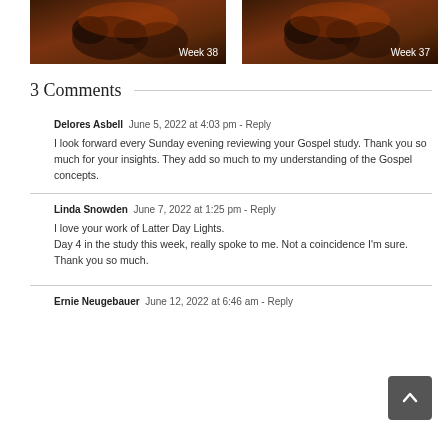[Figure (photo): Thumbnail image with dark brown/orange background showing bears, labeled 'Week 38' in bottom right corner]
[Figure (photo): Thumbnail image with dark brown/orange background showing bears, labeled 'Week 37' in bottom right corner]
3 Comments
Delores Asbell  June 5, 2022 at 4:03 pm  - Reply
I look forward every Sunday evening reviewing your Gospel study. Thank you so much for your insights. They add so much to my understanding of the Gospel concepts.
Linda Snowden  June 7, 2022 at 1:25 pm  - Reply
I love your work of Latter Day Lights.
Day 4 in the study this week, really spoke to me. Not a coincidence I'm sure.
Thank you so much.
Ernie Neugebauer  June 12, 2022 at 6:46 am  - Reply